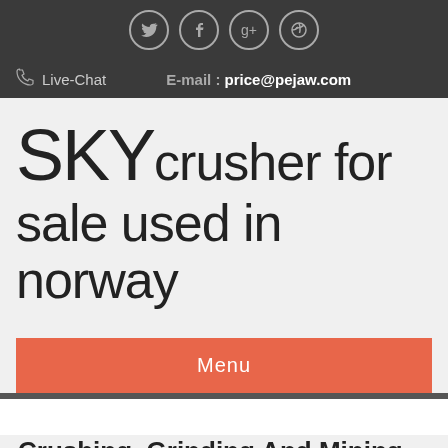[Figure (other): Social media icons (Twitter, Facebook, Google+, Dribbble) shown as circles in dark header bar]
Live-Chat    E-mail : price@pejaw.com
SKYcrusher for sale used in norway
Menu
Crushing, Grinding And Mining Equipments
[Figure (photo): Aerial/wide view of industrial mining facility with white building, blue warehouse and surrounding landscape]